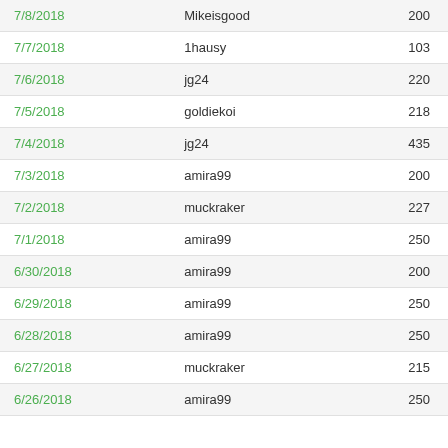| Date | User | Value |
| --- | --- | --- |
| 7/8/2018 | Mikeisgood | 200 |
| 7/7/2018 | 1hausy | 103 |
| 7/6/2018 | jg24 | 220 |
| 7/5/2018 | goldiekoi | 218 |
| 7/4/2018 | jg24 | 435 |
| 7/3/2018 | amira99 | 200 |
| 7/2/2018 | muckraker | 227 |
| 7/1/2018 | amira99 | 250 |
| 6/30/2018 | amira99 | 200 |
| 6/29/2018 | amira99 | 250 |
| 6/28/2018 | amira99 | 250 |
| 6/27/2018 | muckraker | 215 |
| 6/26/2018 | amira99 | 250 |